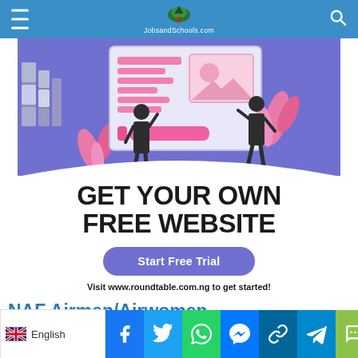JobsandSchools.com
[Figure (illustration): Website builder advertisement banner: purple/blue background with illustration of two figures arranging a large website mockup screen, surrounded by plants and books. Bottom white section with bold text 'GET YOUR OWN FREE WEBSITE', a purple 'Start Free Trial' button, and text 'Visit www.roundtable.com.ng to get started!']
NAF Airmen/Airwomen R...
English | Facebook | Twitter | WhatsApp | Messenger | Link | Telegram | SMS | More